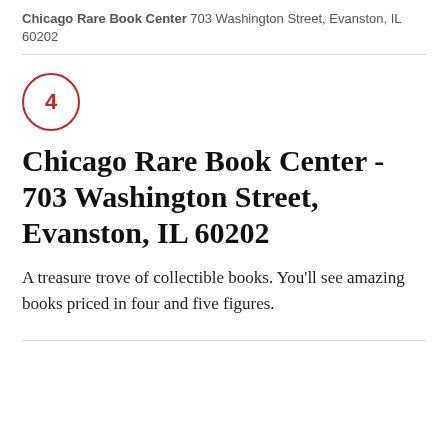Chicago Rare Book Center 703 Washington Street, Evanston, IL 60202
Chicago Rare Book Center - 703 Washington Street, Evanston, IL 60202
A treasure trove of collectible books. You'll see amazing books priced in four and five figures.